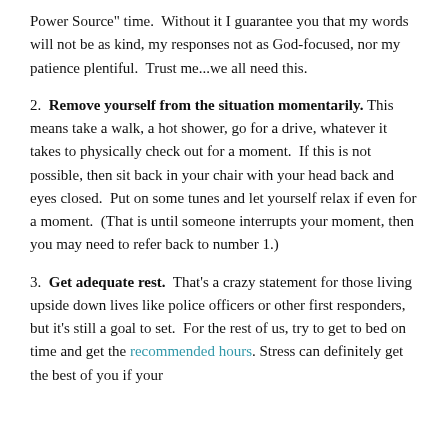Power Source" time.  Without it I guarantee you that my words will not be as kind, my responses not as God-focused, nor my patience plentiful.  Trust me...we all need this.
2.  Remove yourself from the situation momentarily. This means take a walk, a hot shower, go for a drive, whatever it takes to physically check out for a moment.  If this is not possible, then sit back in your chair with your head back and eyes closed.  Put on some tunes and let yourself relax if even for a moment.  (That is until someone interrupts your moment, then you may need to refer back to number 1.)
3.  Get adequate rest.  That's a crazy statement for those living upside down lives like police officers or other first responders, but it's still a goal to set.  For the rest of us, try to get to bed on time and get the recommended hours. Stress can definitely get the best of you if your